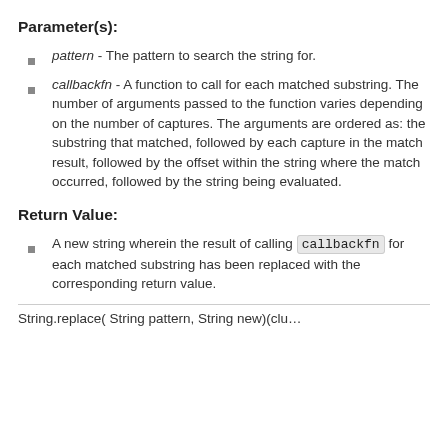Parameter(s):
pattern - The pattern to search the string for.
callbackfn - A function to call for each matched substring. The number of arguments passed to the function varies depending on the number of captures. The arguments are ordered as: the substring that matched, followed by each capture in the match result, followed by the offset within the string where the match occurred, followed by the string being evaluated.
Return Value:
A new string wherein the result of calling callbackfn for each matched substring has been replaced with the corresponding return value.
String.replace( String pattern, String new)(clu…